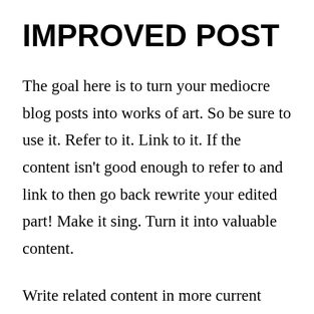IMPROVED POST
The goal here is to turn your mediocre blog posts into works of art. So be sure to use it. Refer to it. Link to it. If the content isn't good enough to refer to and link to then go back rewrite your edited part! Make it sing. Turn it into valuable content.
Write related content in more current blog posts and link back to that blog post. Tell your readers (or don't tell them) that they should